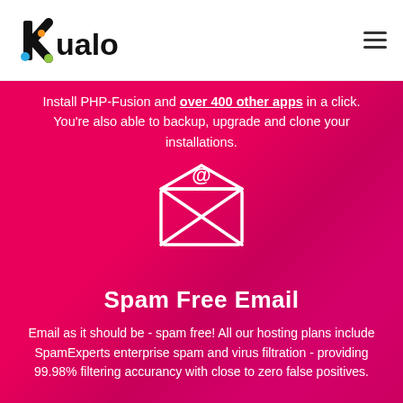[Figure (logo): Kualo logo with colorful K and stylized text]
[Figure (other): Hamburger menu icon (three horizontal lines)]
Install PHP-Fusion and over 400 other apps in a click. You're also able to backup, upgrade and clone your installations.
[Figure (illustration): Email envelope icon with @ symbol, white outline style]
Spam Free Email
Email as it should be - spam free! All our hosting plans include SpamExperts enterprise spam and virus filtration - providing 99.98% filtering accurancy with close to zero false positives.
[Figure (illustration): Chat bubble with heart icon, white outline style]